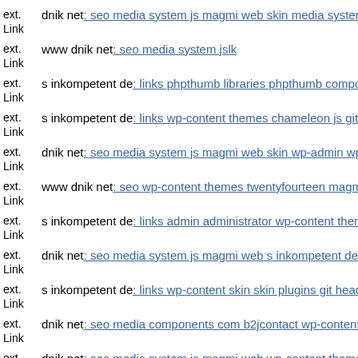ext. Link dnik net: seo media system js magmi web skin media system js
ext. Link www dnik net: seo media system jslk
ext. Link s inkompetent de: links phpthumb libraries phpthumb compone
ext. Link s inkompetent de: links wp-content themes chameleon js git he
ext. Link dnik net: seo media system js magmi web skin wp-admin wp-a
ext. Link www dnik net: seo wp-content themes twentyfourteen magmi w
ext. Link s inkompetent de: links admin administrator wp-content themes
ext. Link dnik net: seo media system js magmi web s inkompetent de
ext. Link s inkompetent de: links wp-content skin skin plugins git head
ext. Link dnik net: seo media components com b2jcontact wp-content pl
ext. Link dnik net: seo media system js magmi web wp-content themes b
ext.